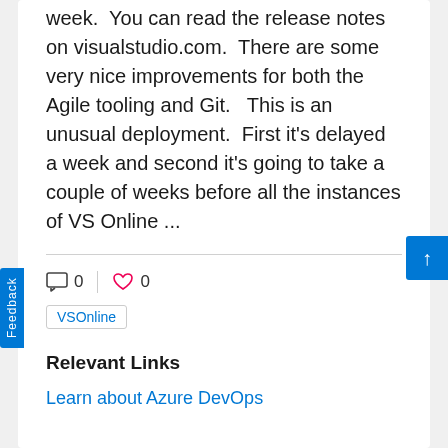week.  You can read the release notes on visualstudio.com.  There are some very nice improvements for both the Agile tooling and Git.   This is an unusual deployment.  First it's delayed a week and second it's going to take a couple of weeks before all the instances of VS Online ...
[Figure (other): Comment icon with count 0, heart/like icon with count 0, and a tag badge labeled VSOnline]
Relevant Links
Learn about Azure DevOps